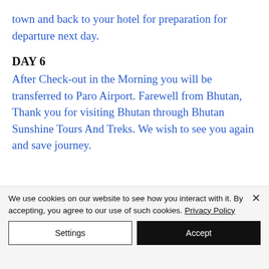town and back to your hotel for preparation for departure next day.
DAY 6
After Check-out in the Morning you will be transferred to Paro Airport. Farewell from Bhutan, Thank you for visiting Bhutan through Bhutan Sunshine Tours And Treks. We wish to see you again and save journey.
We use cookies on our website to see how you interact with it. By accepting, you agree to our use of such cookies. Privacy Policy
Settings
Accept